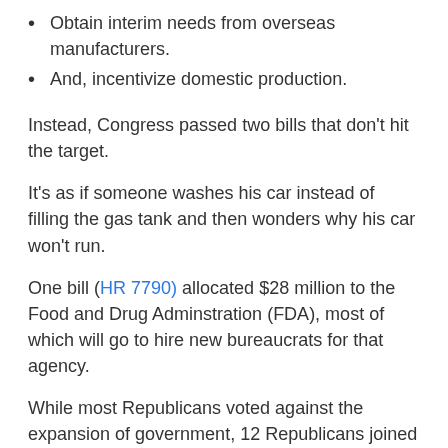Obtain interim needs from overseas manufacturers.
And, incentivize domestic production.
Instead, Congress passed two bills that don’t hit the target.
It's as if someone washes his car instead of filling the gas tank and then wonders why his car won’t run.
One bill (HR 7790) allocated $28 million to the Food and Drug Adminstration (FDA), most of which will go to hire new bureaucrats for that agency.
While most Republicans voted against the expansion of government, 12 Republicans joined